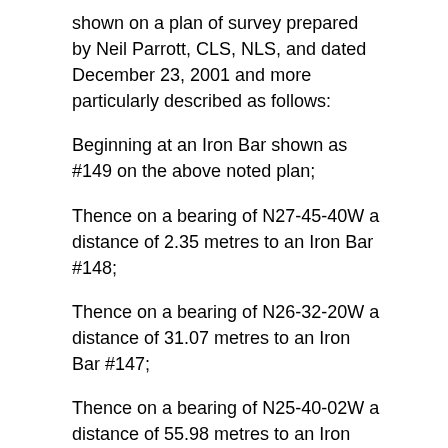shown on a plan of survey prepared by Neil Parrott, CLS, NLS, and dated December 23, 2001 and more particularly described as follows:
Beginning at an Iron Bar shown as #149 on the above noted plan;
Thence on a bearing of N27-45-40W a distance of 2.35 metres to an Iron Bar #148;
Thence on a bearing of N26-32-20W a distance of 31.07 metres to an Iron Bar #147;
Thence on a bearing of N25-40-02W a distance of 55.98 metres to an Iron Bar #146;
Thence on a bearing of N26-38-55W a distance of 3.18 metres to an Iron Bar #508;
Thence on a bearing of N70-05-00E a distance of 15.57 metres to an Iron Bar #511;
Thence on a bearing of N70-05-00E a distance of